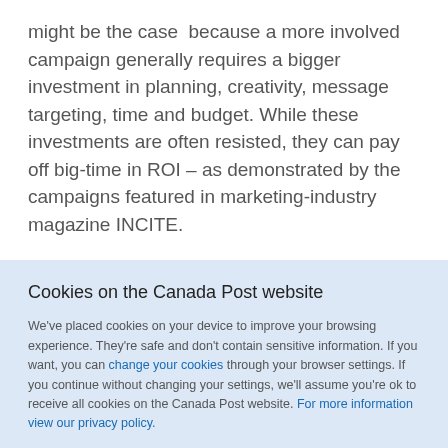might be the case because a more involved campaign generally requires a bigger investment in planning, creativity, message targeting, time and budget. While these investments are often resisted, they can pay off big-time in ROI – as demonstrated by the campaigns featured in marketing-industry magazine INCITE.
Cookies on the Canada Post website
We've placed cookies on your device to improve your browsing experience. They're safe and don't contain sensitive information. If you want, you can change your cookies through your browser settings. If you continue without changing your settings, we'll assume you're ok to receive all cookies on the Canada Post website. For more information view our privacy policy.
I understand